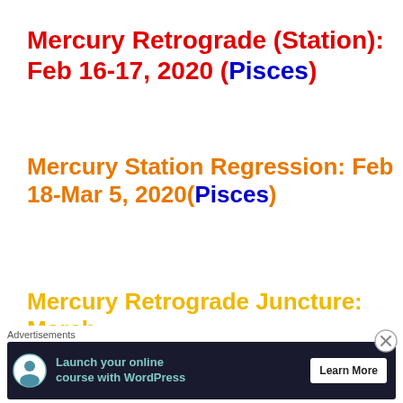Mercury Retrograde (Station): Feb 16-17, 2020 (Pisces)
Mercury Station Regression: Feb 18-Mar 5, 2020(Pisces)
Mercury Retrograde Juncture: March
Advertisements
[Figure (screenshot): Advertisement banner: Launch your online course with WordPress - Learn More]